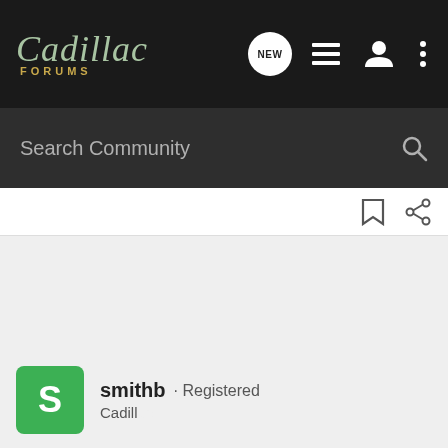[Figure (logo): Cadillac Forums logo with script text and nav icons (NEW, list, user, more)]
Search Community
[Figure (screenshot): Bookmark and share icons toolbar strip]
smithb · Registered